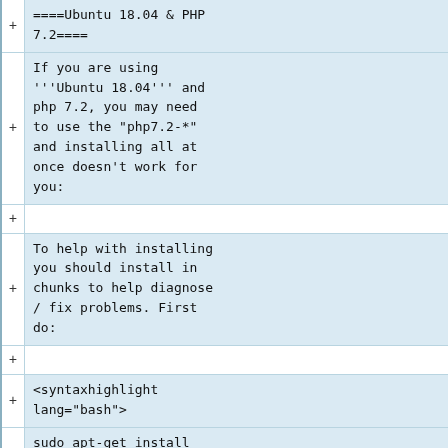====Ubuntu 18.04 & PHP 7.2====
If you are using '''Ubuntu 18.04''' and php 7.2, you may need to use the "php7.2-*" and installing all at once doesn't work for you:
To help with installing you should install in chunks to help diagnose / fix problems. First do:
<syntaxhighlight lang="bash">
sudo apt-get install